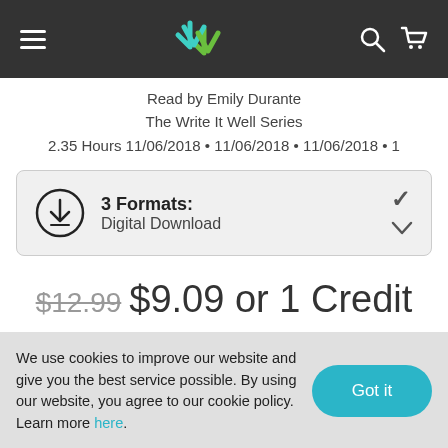Navigation bar with hamburger menu, logo, search and cart icons
Read by Emily Durante
The Write It Well Series
2.35 Hours 11/06/2018 • 11/06/2018 • 11/06/2018 • 1
3 Formats: Digital Download
$12.99 $9.09 or 1 Credit
We use cookies to improve our website and give you the best service possible. By using our website, you agree to our cookie policy. Learn more here.